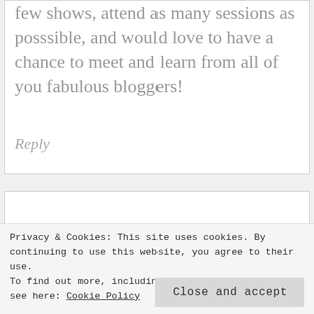few shows, attend as many sessions as posssible, and would love to have a chance to meet and learn from all of you fabulous bloggers!
Reply
Privacy & Cookies: This site uses cookies. By continuing to use this website, you agree to their use. To find out more, including how to control cookies, see here: Cookie Policy
Close and accept